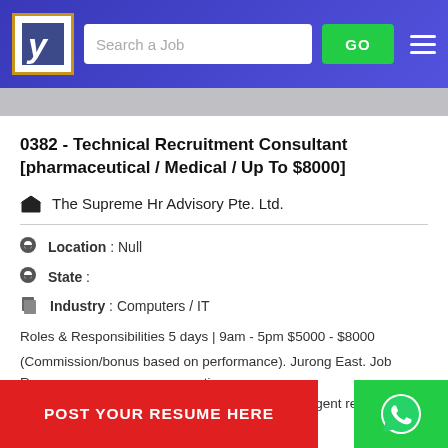Search a Job  GO
0382 - Technical Recruitment Consultant [pharmaceutical / Medical / Up To $8000]
The Supreme Hr Advisory Pte. Ltd.
Location : Null
State :
Industry : Computers / IT
Roles & Responsibilities 5 days | 9am - 5pm $5000 - $8000
(Commission/bonus based on performance). Jurong East. Job R... ctiv... pharmaceutical and medical device clients' contingent resource
POST YOUR RESUME HERE